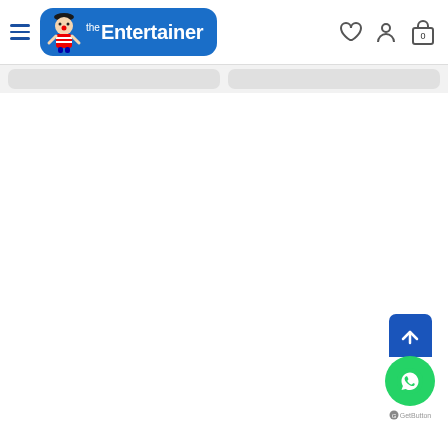[Figure (screenshot): The Entertainer toy store website navigation bar with hamburger menu, logo, wishlist heart icon, account icon, and shopping bag icon showing 0 items]
[Figure (screenshot): Two gray rounded rectangle placeholder cards side by side below the navigation bar]
[Figure (screenshot): Scroll to top button (blue square with upward arrow) and WhatsApp chat button (green circle with WhatsApp logo) in the bottom right corner, with GetButton label beneath]